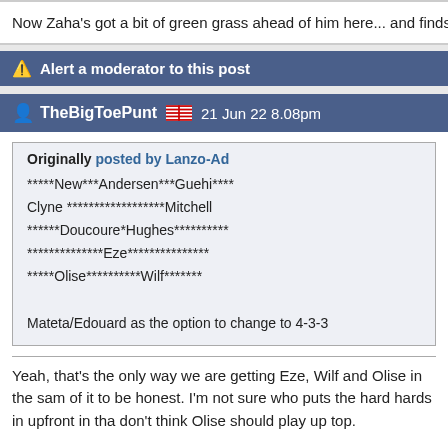Now Zaha's got a bit of green grass ahead of him here... and finds Am
Alert a moderator to this post
TheBigToePunt 🏴󠁧󠁢󠁥󠁮󠁧󠁿 21 Jun 22 8.08pm
Originally posted by Lanzo-Ad
*****New***Andersen***Guehi****
Clyne ******************Mitchell
******Doucoure*Hughes**********
**************Eze***************
*****Olise**********Wilf*******

Mateta/Edouard as the option to change to 4-3-3
Yeah, that's the only way we are getting Eze, Wilf and Olise in the sam of it to be honest. I'm not sure who puts the hard hards in upfront in tha don't think Olise should play up top.

If we went 343 then we could go with something like:

*****New***Andersen***Guehi*****
New******Hughes***Eze******Mitchell